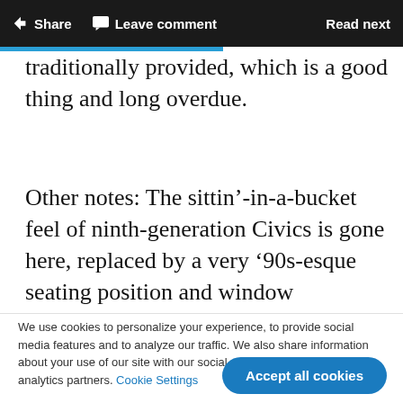Share  Leave comment  Read next
traditionally provided, which is a good thing and long overdue.
Other notes: The sittin'-in-a-bucket feel of ninth-generation Civics is gone here, replaced by a very '90s-esque seating position and window
We use cookies to personalize your experience, to provide social media features and to analyze our traffic. We also share information about your use of our site with our social media, advertising and analytics partners. Cookie Settings
Accept all cookies